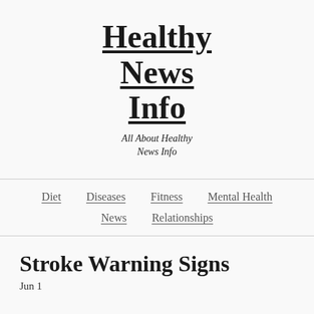Healthy News Info
All About Healthy News Info
Diet  Diseases  Fitness  Mental Health  News  Relationships
Stroke Warning Signs
Jun 1